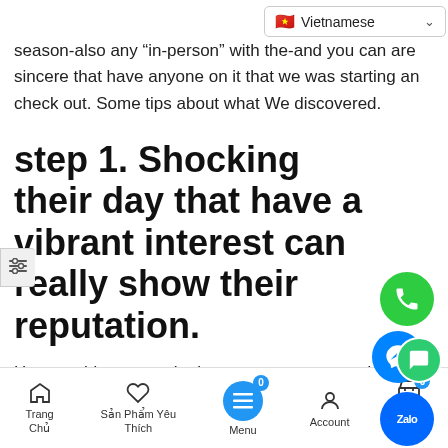season-also any “in-person”
with the-and you can are sincere that have anyone on it that we was starting an check out. Some tips about what We discovered.
step 1. Shocking their day that have a vibrant interest can really show their reputation.
How would you act whether your go out wanted to wade skydiving to you the first time you fulfilled? In
Trang Chủ | Sản Phẩm Yêu Thích | Menu | Account | Giỏ Hàng